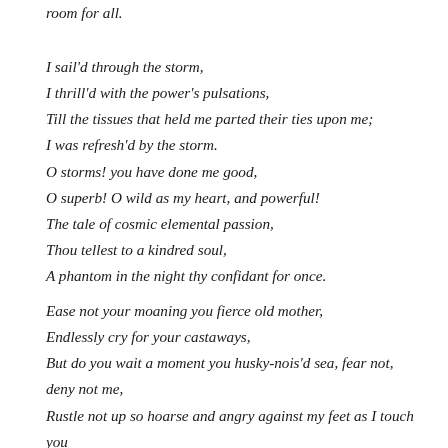room for all.
I sail'd through the storm,
I thrill'd with the power's pulsations,
Till the tissues that held me parted their ties upon me;
I was refresh'd by the storm.
O storms! you have done me good,
O superb! O wild as my heart, and powerful!
The tale of cosmic elemental passion,
Thou tellest to a kindred soul,
A phantom in the night thy confidant for once.
Ease not your moaning you fierce old mother,
Endlessly cry for your castaways,
But do you wait a moment you husky-nois'd sea, fear not, deny not me,
Rustle not up so hoarse and angry against my feet as I touch you